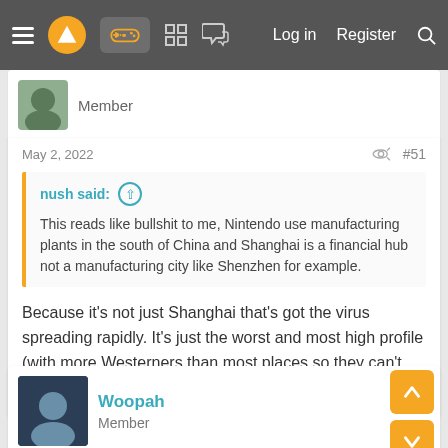Log in  Register
Member
May 2, 2022  #51
nush said:
This reads like bullshit to me, Nintendo use manufacturing plants in the south of China and Shanghai is a financial hub not a manufacturing city like Shenzhen for example.
Because it's not just Shanghai that's got the virus spreading rapidly. It's just the worst and most high profile (with more Westerners than most places so they can't hide the everything).
Woopah
Member